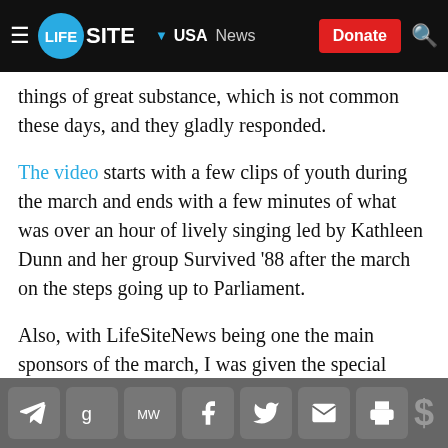LIFESITE ▾ USA  News  Donate
things of great substance, which is not common these days, and they gladly responded.
The video starts with a few clips of youth during the march and ends with a few minutes of what was over an hour of lively singing led by Kathleen Dunn and her group Survived '88 after the march on the steps going up to Parliament.
Also, with LifeSiteNews being one the main sponsors of the march, I was given the special opportunity to address the 20,000 strong crowd. When my time came, due to the agenda having gone late, I had to trim my three minute speech on the fly to allow all the remaining speakers their opportunity to greet the
Share icons: Telegram, Gettr, MeWe, Facebook, Twitter, Email, Print | Donate ($)